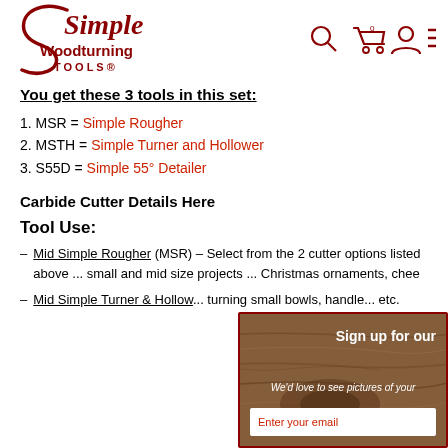[Figure (logo): Simple Woodturning Tools logo - red script text 'Simple' above 'Woodturning TOOLS®' in dark red]
[Figure (infographic): Navigation icons: search, cart with 0, user account, hamburger menu in dark red]
You get these 3 tools in this set:
1. MSR = Simple Rougher
2. MSTH = Simple Turner and Hollower
3. S55D = Simple 55° Detailer
Carbide Cutter Details Here
Tool Use:
Mid Simple Rougher (MSR) - Select from the 2 cutter options listed above ... small and mid size projects ... Christmas ornaments, chee...
Mid Simple Turner & Hollow... turning small bowls, handle... etc.
[Figure (screenshot): Email signup popup with wood texture background. Text: 'Sign up for our...' and 'We'd love to see pictures of your...' and an email input field.]